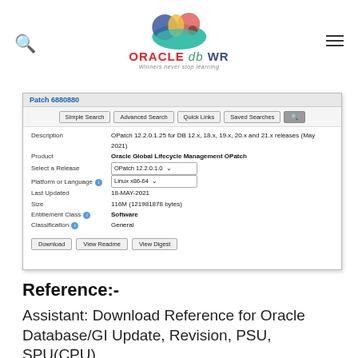[Figure (screenshot): Oracle DB WR website header with logo (cloud icon with overlapping coloured circles), search icon on left, hamburger menu on right, tagline 'Winners never stop learning']
[Figure (screenshot): Oracle My Patches screenshot showing Patch 6880880 details: Description 'OPatch 12.2.0.1.25 for DB 12.x, 18.x, 19.x, 20.x and 21.x releases (May 2021)', Product 'Oracle Global Lifecycle Management OPatch', Select a Release 'OPatch 12.2.0.1.0', Platform or Language 'Linux x86-64', Last Updated '18-MAY-2021', Size '116M (121981878 bytes)', Entitlement Class 'Software', Classification 'General', with Download, View Readme, View Digest buttons]
Reference:-
Assistant: Download Reference for Oracle Database/GI Update, Revision, PSU, SPU(CPU),